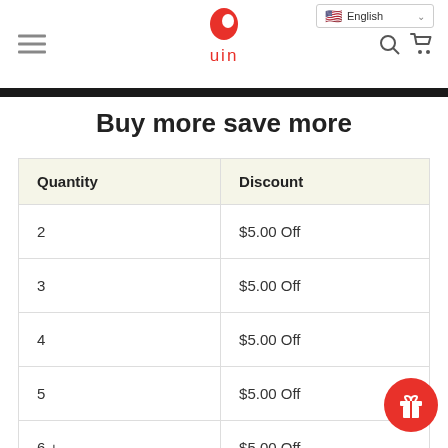uin - English
Buy more save more
| Quantity | Discount |
| --- | --- |
| 2 | $5.00 Off |
| 3 | $5.00 Off |
| 4 | $5.00 Off |
| 5 | $5.00 Off |
| 6 + | $5.00 Off |